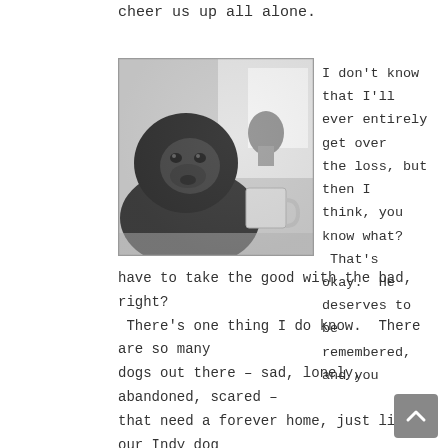cheer us up all alone.
[Figure (photo): Black and white photograph of a dark-colored dog (appears to be a Labrador) sitting indoors, with a white mug and a potted plant visible in the background.]
I don't know that I'll ever entirely get over the loss, but then I think, you know what?  That's okay.  He deserves to be remembered, and you have to take the good with the bad, right?  There's one thing I do know.  There are so many dogs out there – sad, lonely, abandoned, scared – that need a forever home, just like our Indy dog did.  I also know that I'm going to miss out big time if I let this stop me from getting another dog.  It would be the worst insult to Indy's